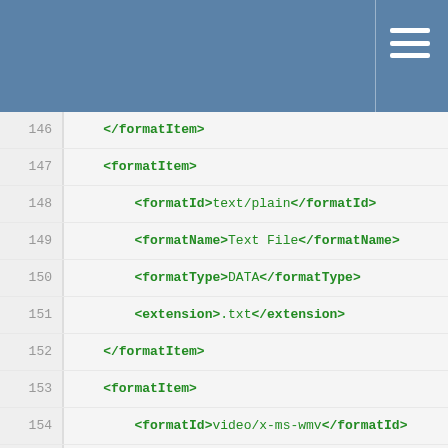[Figure (screenshot): Blue header bar with hamburger menu icon]
146    </formatItem>
147    <formatItem>
148        <formatId>text/plain</formatId>
149        <formatName>Text File</formatName>
150        <formatType>DATA</formatType>
151        <extension>.txt</extension>
152    </formatItem>
153    <formatItem>
154        <formatId>video/x-ms-wmv</formatId>
155        <formatName>Microsoft Windows Media Video</formatName>
156        <formatType>DATA</formatType>
157        <extension>.wmv</extension>
158    </formatItem>
159    <formatItem>
160        <formatId>application/vnd.ms-excel</formatId>
161        <formatName>Microsoft Excel</formatName>
162        <formatType>DATA</formatType>
163        <extension>.xls</extension>
164    </formatItem>